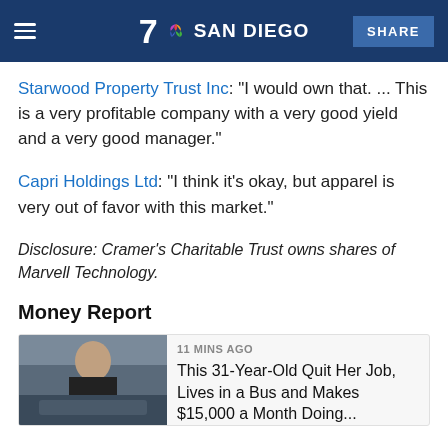7 SAN DIEGO | SHARE
Starwood Property Trust Inc: "I would own that. ... This is a very profitable company with a very good yield and a very good manager."
Capri Holdings Ltd: "I think it's okay, but apparel is very out of favor with this market."
Disclosure: Cramer's Charitable Trust owns shares of Marvell Technology.
Money Report
11 MINS AGO
This 31-Year-Old Quit Her Job, Lives in a Bus and Makes $15,000 a Month Doing...